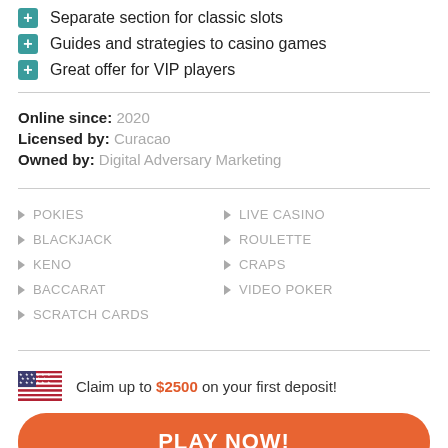Separate section for classic slots
Guides and strategies to casino games
Great offer for VIP players
Online since: 2020
Licensed by: Curacao
Owned by: Digital Adversary Marketing
POKIES
BLACKJACK
KENO
BACCARAT
SCRATCH CARDS
LIVE CASINO
ROULETTE
CRAPS
VIDEO POKER
Claim up to $2500 on your first deposit!
PLAY NOW!